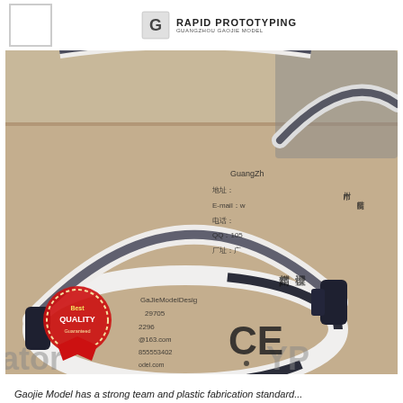RAPID PROTOTYPING GUANGZHOU GAOJIE MODEL
[Figure (photo): Photo of a white and dark navy blue wearable head-band device (EEG or similar brain-sensing headband prototype) resting on a cardboard box printed with Chinese text and company contact information (GuangZhou, email, QQ numbers). A 'Best Quality Guaranteed' red badge stamp and CE certification mark are visible on the box.]
Gaojie Model has a strong team and plastic fabrication standard...